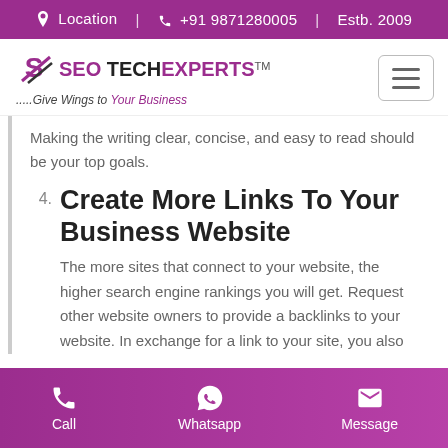Location | +91 9871280005 | Estb. 2009
[Figure (logo): SEO Tech Experts logo with tagline: .....Give Wings to Your Business]
Making the writing clear, concise, and easy to read should be your top goals.
4. Create More Links To Your Business Website
The more sites that connect to your website, the higher search engine rankings you will get. Request other website owners to provide a backlinks to your website. In exchange for a link to your site, you also
Call | Whatsapp | Message